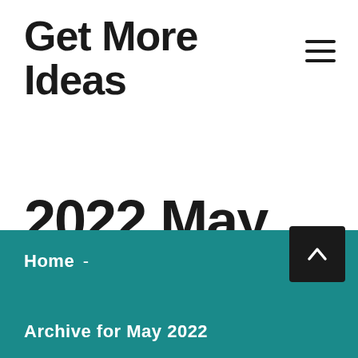Get More Ideas
2022 May
Home -